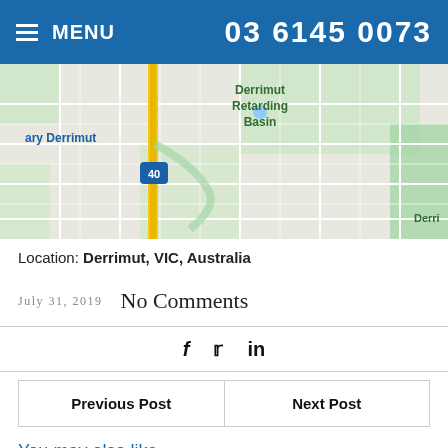MENU   03 6145 0073
[Figure (map): Street map showing Derrimut area in Victoria, Australia, with a yellow road (route 40), green park areas, Derrimut Retarding Basin labeled, and street grid visible.]
Location: Derrimut, VIC, Australia
July 31, 2019   No Comments
f  ✦  in
| Previous Post | Next Post |
| --- | --- |
You may also like
August 7, 2019